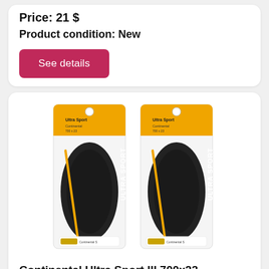Price: 21 $
Product condition: New
See details
[Figure (photo): Two Continental Ultra Sport tires in packaging, folded and bundled, black with yellow/orange Continental branding and logo.]
Continental Ultra Sport III 700x23 Black/Black Fol
Delivered anywhere in USA